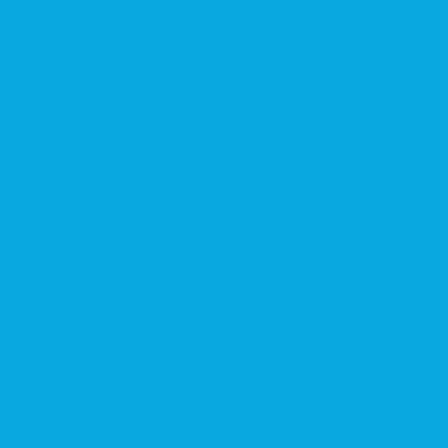[Figure (other): Solid sky-blue background filling the entire page with no text or other visible content.]